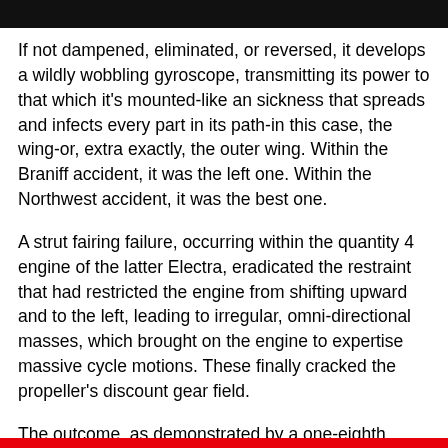If not dampened, eliminated, or reversed, it develops a wildly wobbling gyroscope, transmitting its power to that which it's mounted-like an sickness that spreads and infects every part in its path-in this case, the wing-or, extra exactly, the outer wing. Within the Braniff accident, it was the left one. Within the Northwest accident, it was the best one.
A strut fairing failure, occurring within the quantity 4 engine of the latter Electra, eradicated the restraint that had restricted the engine from shifting upward and to the left, leading to irregular, omni-directional masses, which brought on the engine to expertise massive cycle motions. These finally cracked the propeller's discount gear field.
The outcome, as demonstrated by a one-eighth scale L-188 mannequin in a NASA Langley wind tunnel, was expressed